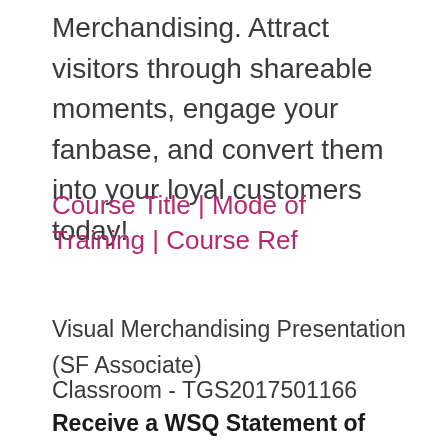Merchandising. Attract visitors through shareable moments, engage your fanbase, and convert them into your loyal customers today!
Course Title | Mode of Training | Course Ref
Visual Merchandising Presentation (SF Associate)
Classroom - TGS2017501166
Receive a WSQ Statement of Attainment (SOA) from the SkillsFuture Singapore (SSG)